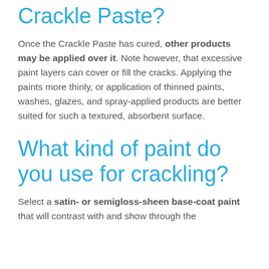Can you paint over Crackle Paste?
Once the Crackle Paste has cured, other products may be applied over it. Note however, that excessive paint layers can cover or fill the cracks. Applying the paints more thinly, or application of thinned paints, washes, glazes, and spray-applied products are better suited for such a textured, absorbent surface.
What kind of paint do you use for crackling?
Select a satin- or semigloss-sheen base-coat paint that will contrast with and show through the